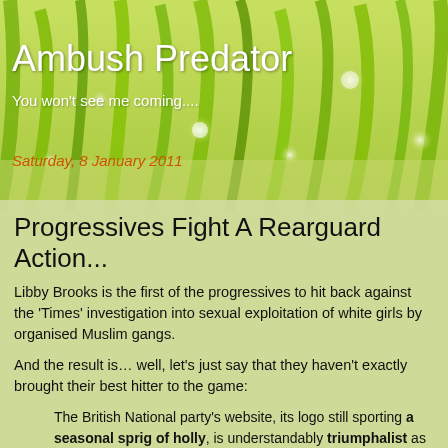[Figure (photo): Background photo of green grass blades with water droplets, used as the blog header image]
Ambush Predator
You won't see me coming....
Saturday, 8 January 2011
Progressives Fight A Rearguard Action...
Libby Brooks is the first of the progressives to hit back against the 'Times' investigation into sexual exploitation of white girls by organised Muslim gangs.
And the result is… well, let's just say that they haven't exactly brought their best hitter to the game:
The British National party's website, its logo still sporting a seasonal sprig of holly, is understandably triumphalist as it proclaims that the "controlled media" has admitted this week